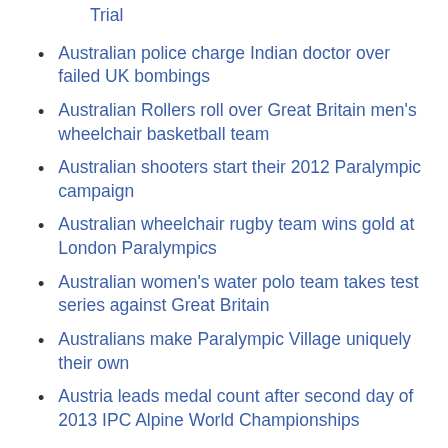Trial
Australian police charge Indian doctor over failed UK bombings
Australian Rollers roll over Great Britain men's wheelchair basketball team
Australian shooters start their 2012 Paralympic campaign
Australian wheelchair rugby team wins gold at London Paralympics
Australian women's water polo team takes test series against Great Britain
Australians make Paralympic Village uniquely their own
Austria leads medal count after second day of 2013 IPC Alpine World Championships